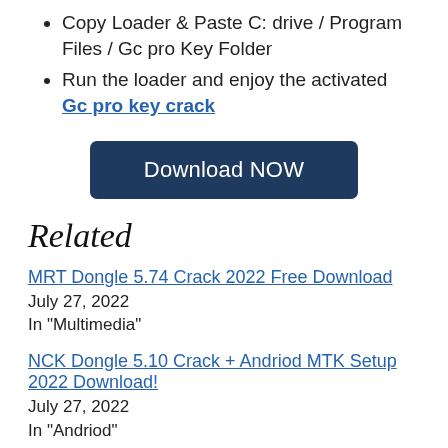Copy Loader & Paste C: drive / Program Files / Gc pro Key Folder
Run the loader and enjoy the activated Gc pro key crack
[Figure (other): Dark blue Download NOW button]
Related
MRT Dongle 5.74 Crack 2022 Free Download
July 27, 2022
In "Multimedia"
NCK Dongle 5.10 Crack + Andriod MTK Setup 2022 Download!
July 27, 2022
In "Andriod"